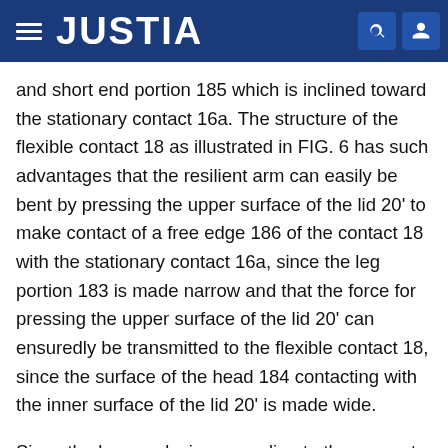JUSTIA
and short end portion 185 which is inclined toward the stationary contact 16a. The structure of the flexible contact 18 as illustrated in FIG. 6 has such advantages that the resilient arm can easily be bent by pressing the upper surface of the lid 20' to make contact of a free edge 186 of the contact 18 with the stationary contact 16a, since the leg portion 183 is made narrow and that the force for pressing the upper surface of the lid 20' can ensuredly be transmitted to the flexible contact 18, since the surface of the head 184 contacting with the inner surface of the lid 20' is made wide.
Since the buzzer device according to the present invention is constructed as referred to hereinabove, even if a user presses an edge portion on the upper surface of the lid in haste as shown by arrows 36, 38 in FIGS. 4 and 5, the lid 20' moves swingingly as shown in